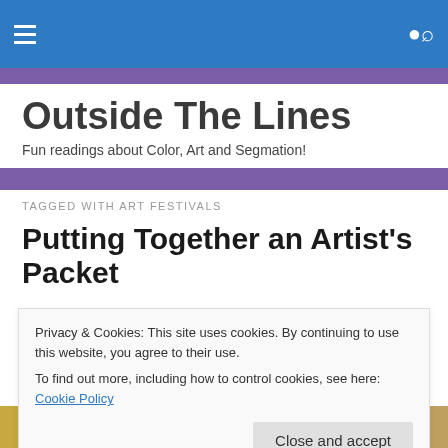Outside The Lines — navigation bar
Outside The Lines
Fun readings about Color, Art and Segmation!
TAGGED WITH ART FESTIVALS
Putting Together an Artist's Packet
Privacy & Cookies: This site uses cookies. By continuing to use this website, you agree to their use.
To find out more, including how to control cookies, see here: Cookie Policy
Close and accept
[Figure (photo): A photo strip showing people at an art event, partially visible at the bottom of the page.]